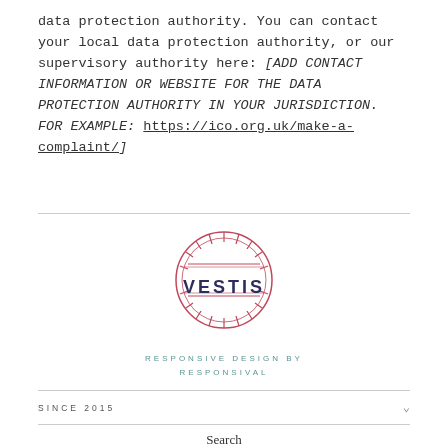data protection authority. You can contact your local data protection authority, or our supervisory authority here: [ADD CONTACT INFORMATION OR WEBSITE FOR THE DATA PROTECTION AUTHORITY IN YOUR JURISDICTION. FOR EXAMPLE: https://ico.org.uk/make-a-complaint/]
[Figure (logo): Vestis circular logo with rays and horizontal lines, red/pink color with dark navy VESTIS text]
RESPONSIVE DESIGN BY RESPONSIVAL
SINCE 2015
Search